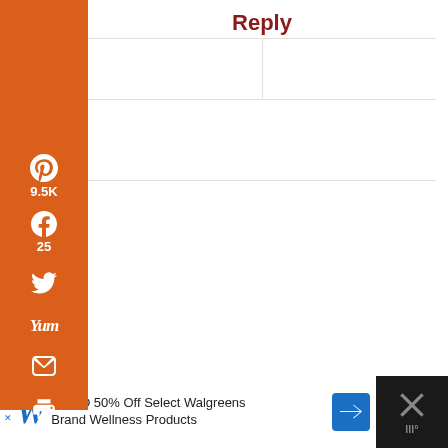[Figure (screenshot): Social media share sidebar with Pinterest (9.5K), Facebook (25), Twitter, Yummly, Email, and Print buttons on orange background]
Reply
[Figure (screenshot): Comment reply form with text input boxes]
LORI SAYS
July 27, 2017 at 8:52 AM
9.5K SHARES
[Figure (screenshot): Advertisement banner: BOGO 50% Off Select Walgreens Brand Wellness Products]